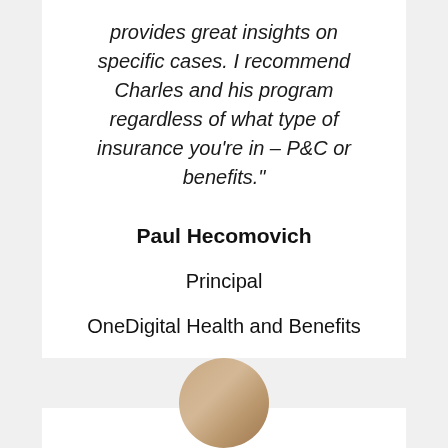provides great insights on specific cases. I recommend Charles and his program regardless of what type of insurance you're in – P&C or benefits."
Paul Hecomovich
Principal
OneDigital Health and Benefits
[Figure (photo): Circular portrait photo of a person, partially visible at the bottom of the page]